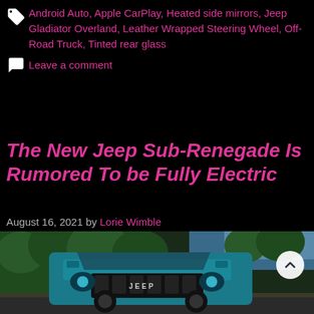Android Auto, Apple CarPlay, Heated side mirrors, Jeep Gladiator Overland, Leather Wrapped Steering Wheel, Off-Road Truck, Tinted rear glass
Leave a comment
The New Jeep Sub-Renegade Is Rumored To be Fully Electric
August 16, 2021 by Lorie Wimble
[Figure (photo): A teal/turquoise Jeep Renegade SUV driving on a road with blurred green trees in the background and a blue sky, photographed from the front-side angle.]